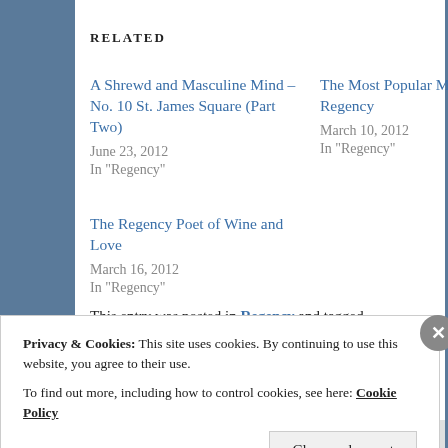RELATED
A Shrewd and Masculine Mind – No. 10 St. James Square (Part Two)
June 23, 2012
In "Regency"
The Most Popular Man of the Regency
March 10, 2012
In "Regency"
The Regency Poet of Wine and Love
March 16, 2012
In "Regency"
This entry was posted in Regency and tagged
Privacy & Cookies: This site uses cookies. By continuing to use this website, you agree to their use.
To find out more, including how to control cookies, see here: Cookie Policy
Close and accept